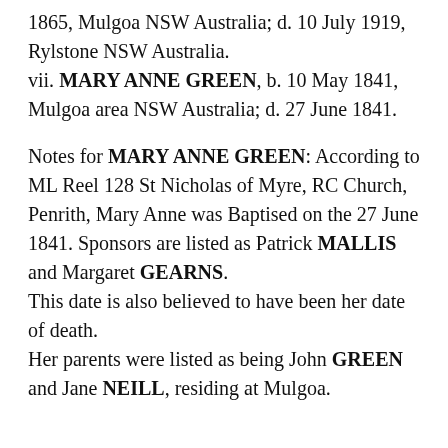1865, Mulgoa NSW Australia; d. 10 July 1919, Rylstone NSW Australia.
vii. MARY ANNE GREEN, b. 10 May 1841, Mulgoa area NSW Australia; d. 27 June 1841.
Notes for MARY ANNE GREEN: According to ML Reel 128 St Nicholas of Myre, RC Church, Penrith, Mary Anne was Baptised on the 27 June 1841. Sponsors are listed as Patrick MALLIS and Margaret GEARNS.
This date is also believed to have been her date of death.
Her parents were listed as being John GREEN and Jane NEILL, residing at Mulgoa.